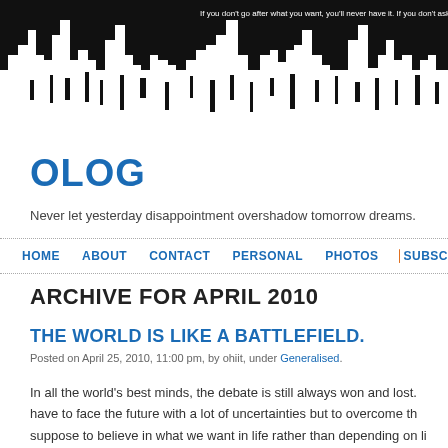[Figure (illustration): Black city skyline silhouette header banner against white/dark background]
OLOG
Never let yesterday disappointment overshadow tomorrow dreams.
HOME   ABOUT   CONTACT   PERSONAL   PHOTOS   SUBSC...
ARCHIVE FOR APRIL 2010
THE WORLD IS LIKE A BATTLEFIELD.
Posted on April 25, 2010, 11:00 pm, by ohiit, under Generalised.
In all the world's best minds, the debate is still always won and lost. have to face the future with a lot of uncertainties but to overcome th suppose to believe in what we want in life rather than depending on li